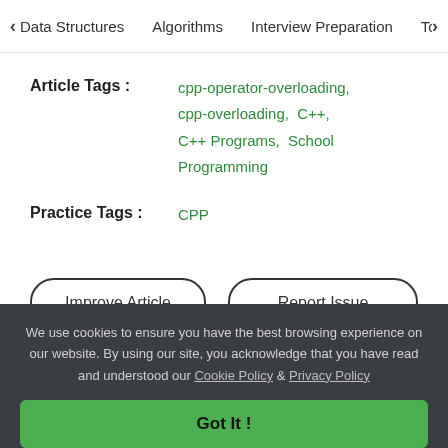Data Structures   Algorithms   Interview Preparation   To>
Article Tags : cpp-operator-overloading, cpp-overloading, C++, C++ Programs, School Programming
Practice Tags : CPP
Improve Article
Report Issue
We use cookies to ensure you have the best browsing experience on our website. By using our site, you acknowledge that you have read and understood our Cookie Policy & Privacy Policy
Got It !